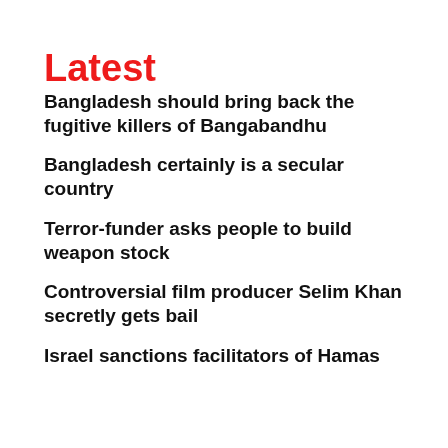Latest
Bangladesh should bring back the fugitive killers of Bangabandhu
Bangladesh certainly is a secular country
Terror-funder asks people to build weapon stock
Controversial film producer Selim Khan secretly gets bail
Israel sanctions facilitators of Hamas